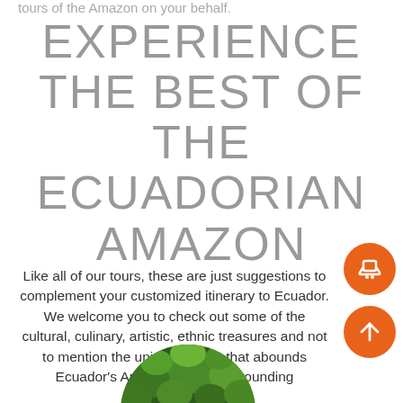tours of the Amazon on your behalf.
EXPERIENCE THE BEST OF THE ECUADORIAN AMAZON
Like all of our tours, these are just suggestions to complement your customized itinerary to Ecuador.
We welcome you to check out some of the cultural, culinary, artistic, ethnic treasures and not to mention the unique wildlife that abounds Ecuador's Amazon and its surrounding landscape.
[Figure (photo): Circular cropped aerial photo of Amazon rainforest canopy, green jungle treetops]
[Figure (illustration): Orange circular chat button with speech bubble icon]
[Figure (illustration): Orange circular up/scroll button with upward arrow icon]